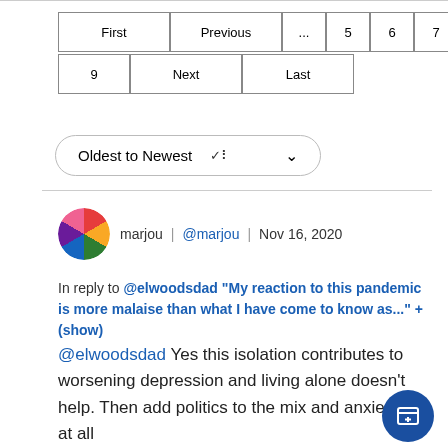Pagination: First | Previous | ... | 5 | 6 | 7 | 8 (active) | 9 | Next | Last
Oldest to Newest ∨
marjou | @marjou | Nov 16, 2020
In reply to @elwoodsdad "My reaction to this pandemic is more malaise than what I have come to know as..." + (show)
@elwoodsdad Yes this isolation contributes to worsening depression and living alone doesn't help. Then add politics to the mix and anxiety is at all